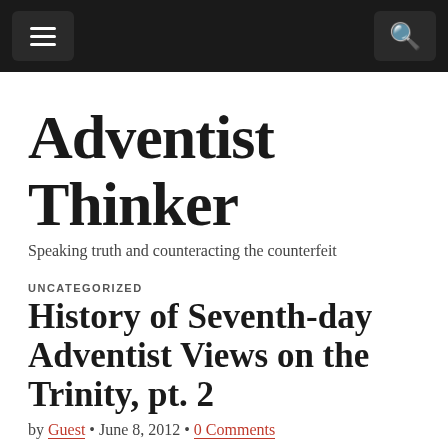Adventist Thinker — navigation bar
Adventist Thinker
Speaking truth and counteracting the counterfeit
UNCATEGORIZED
History of Seventh-day Adventist Views on the Trinity, pt. 2
by Guest • June 8, 2012 • 0 Comments
(History of Seventh-day Adventist Views on the Trinity) con't...
During the first decades of the twentieth century, Adventists found